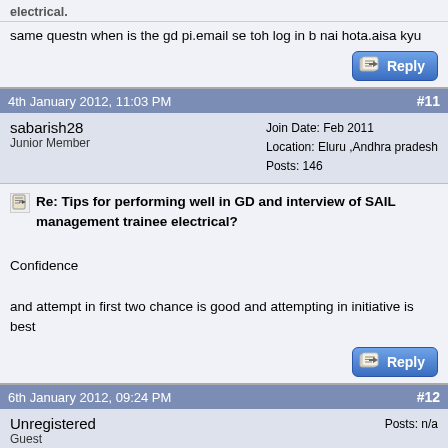same questn when is the gd pi.email se toh log in b nai hota.aisa kyu
4th January 2012, 11:03 PM  #11
sabarish28
Junior Member
Join Date: Feb 2011
Location: Eluru ,Andhra pradesh
Posts: 146
Re: Tips for performing well in GD and interview of SAIL management trainee electrical?
Confidence

and attempt in first two chance is good and attempting in initiative is best
6th January 2012, 09:24 PM  #12
Unregistered
Guest
Posts: n/a
Re: Tips for performing well in GD and interview of SAIL management trainee electrical?
Dear friends